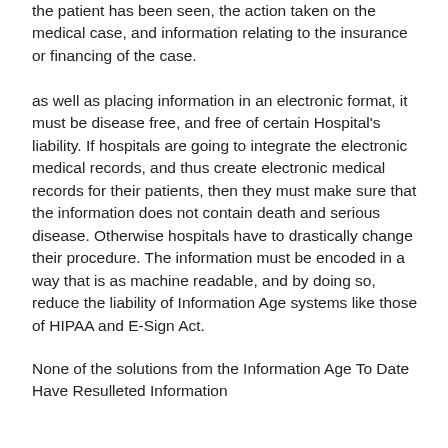the patient has been seen, the action taken on the medical case, and information relating to the insurance or financing of the case.
as well as placing information in an electronic format, it must be disease free, and free of certain Hospital's liability. If hospitals are going to integrate the electronic medical records, and thus create electronic medical records for their patients, then they must make sure that the information does not contain death and serious disease. Otherwise hospitals have to drastically change their procedure. The information must be encoded in a way that is as machine readable, and by doing so, reduce the liability of Information Age systems like those of HIPAA and E-Sign Act.
None of the solutions from the Information Age To Date Have Resulleted Information